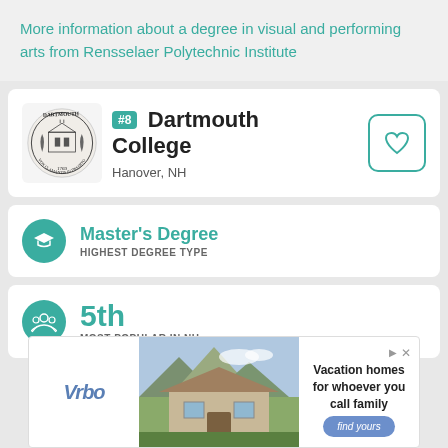More information about a degree in visual and performing arts from Rensselaer Polytechnic Institute
[Figure (logo): Dartmouth College circular seal with text VOX CLAMANTIS IN DESERTO and year 1769]
#8 Dartmouth College
Hanover, NH
Master's Degree
HIGHEST DEGREE TYPE
5th
MOST POPULAR IN NH
[Figure (photo): Vrbo advertisement showing vacation home with mountains in background. Text: Vacation homes for whoever you call family. Find yours button.]